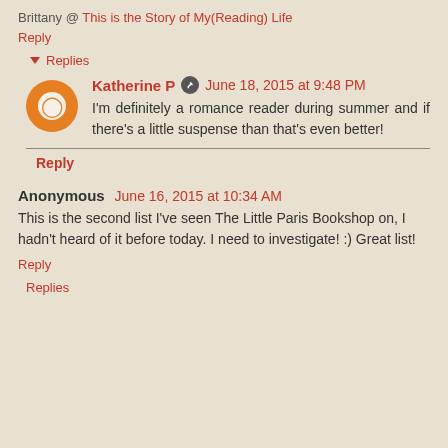Brittany @ This is the Story of My(Reading) Life
Reply
▾ Replies
Katherine P ✎ June 18, 2015 at 9:48 PM
I'm definitely a romance reader during summer and if there's a little suspense than that's even better!
Reply
Anonymous June 16, 2015 at 10:34 AM
This is the second list I've seen The Little Paris Bookshop on, I hadn't heard of it before today. I need to investigate! :) Great list!
Reply
▾ Replies